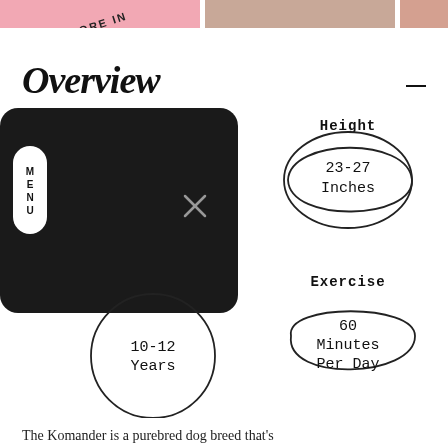[Figure (screenshot): Top image strip showing partial photos (pink and brown tones) with arc text 'MORE IN' at top of page]
Overview
[Figure (infographic): Black rounded rectangle representing a mobile app/UI mockup with MENU pill button on the left and X close icon. Below it is a hand-drawn circle with '10-12 Years'. To the right are two hand-drawn ovals: one labeled 'Height' with '23-27 Inches', one labeled 'Exercise' with '60 Minutes Per Day'.]
The Komander is a purebred dog breed that's